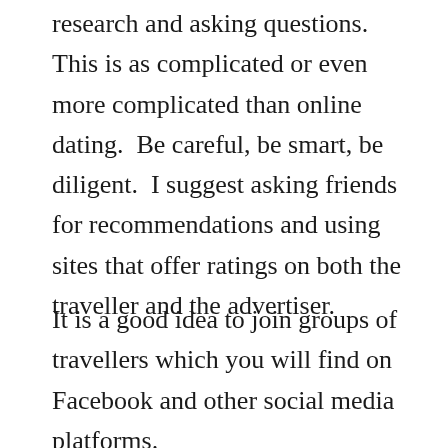research and asking questions. This is as complicated or even more complicated than online dating.  Be careful, be smart, be diligent.  I suggest asking friends for recommendations and using sites that offer ratings on both the traveller and the advertiser.
It is a good idea to join groups of travellers which you will find on Facebook and other social media platforms.